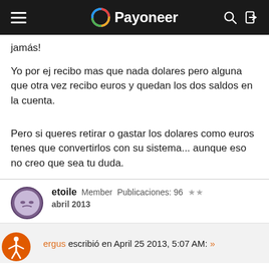Payoneer
jamás!
Yo por ej recibo mas que nada dolares pero alguna que otra vez recibo euros y quedan los dos saldos en la cuenta.
Pero si queres retirar o gastar los dolares como euros tenes que convertirlos con su sistema... aunque eso no creo que sea tu duda.
etoile  Member  Publicaciones: 96  ★★
abril 2013
ergus escribió en April 25 2013, 5:07 AM: »